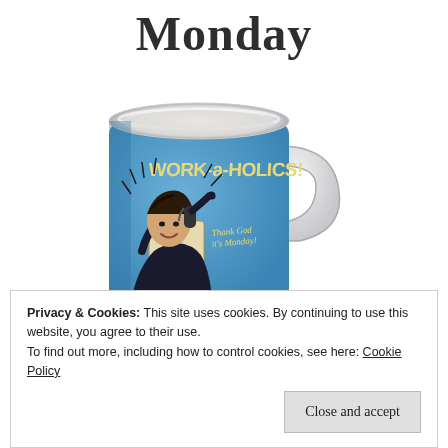Monday
[Figure (photo): Blue ceramic coffee mug with retro-style illustration reading 'WORK-a-HOLICS!' showing a man on the phone reading a paper, with text 'Thank God it's Monday!']
Privacy & Cookies: This site uses cookies. By continuing to use this website, you agree to their use.
To find out more, including how to control cookies, see here: Cookie Policy
Close and accept